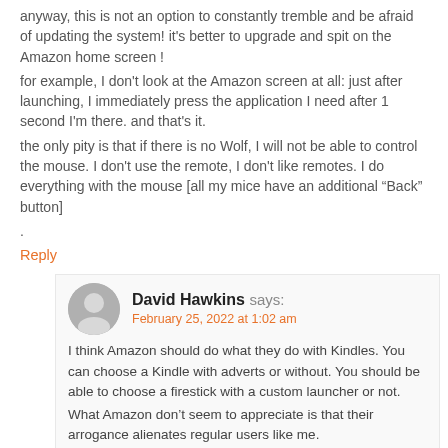anyway, this is not an option to constantly tremble and be afraid of updating the system! it's better to upgrade and spit on the Amazon home screen !
for example, I don't look at the Amazon screen at all: just after launching, I immediately press the application I need after 1 second I'm there. and that's it.
the only pity is that if there is no Wolf, I will not be able to control the mouse. I don't use the remote, I don't like remotes. I do everything with the mouse [all my mice have an additional “Back” button]
.
Reply
David Hawkins says:
February 25, 2022 at 1:02 am
I think Amazon should do what they do with Kindles. You can choose a Kindle with adverts or without. You should be able to choose a firestick with a custom launcher or not. What Amazon don’t seem to appreciate is that their arrogance alienates regular users like me.